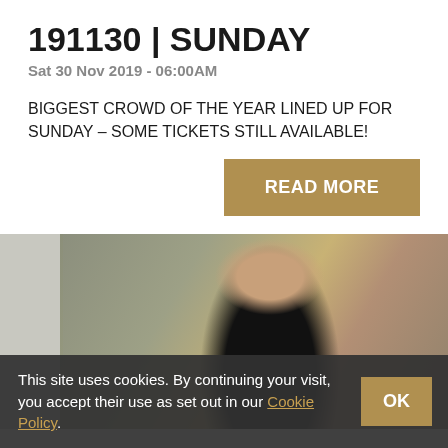191130 | SUNDAY
Sat 30 Nov 2019 - 06:00AM
BIGGEST CROWD OF THE YEAR LINED UP FOR SUNDAY – SOME TICKETS STILL AVAILABLE!
READ MORE
[Figure (photo): A man in a black jacket looking to the right, with a blurred crowd in the background at a sporting venue.]
This site uses cookies. By continuing your visit, you accept their use as set out in our Cookie Policy.